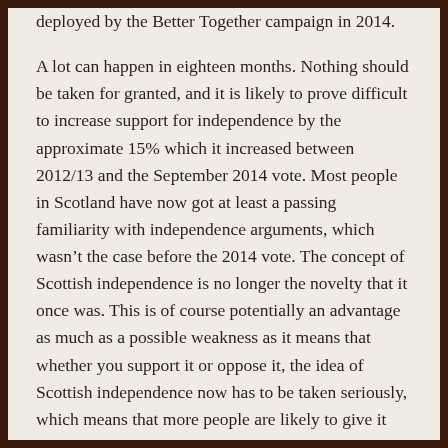deployed by the Better Together campaign in 2014.
A lot can happen in eighteen months. Nothing should be taken for granted, and it is likely to prove difficult to increase support for independence by the approximate 15% which it increased between 2012/13 and the September 2014 vote. Most people in Scotland have now got at least a passing familiarity with independence arguments, which wasn't the case before the 2014 vote. The concept of Scottish independence is no longer the novelty that it once was. This is of course potentially an advantage as much as a possible weakness as it means that whether you support it or oppose it, the idea of Scottish independence now has to be taken seriously, which means that more people are likely to give it